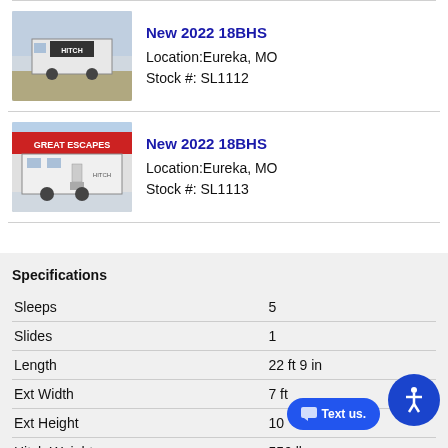[Figure (photo): Thumbnail photo of a HITCH travel trailer RV, front view, photographed outdoors]
New 2022 18BHS
Location: Eureka, MO
Stock #: SL1112
[Figure (photo): Thumbnail photo of a HITCH travel trailer RV, side view, with Great Escapes signage in background]
New 2022 18BHS
Location: Eureka, MO
Stock #: SL1113
Specifications
| Spec | Value |
| --- | --- |
| Sleeps | 5 |
| Slides | 1 |
| Length | 22 ft 9 in |
| Ext Width | 7 ft |
| Ext Height | 10 |
| Hitch Weight | 556 lbs |